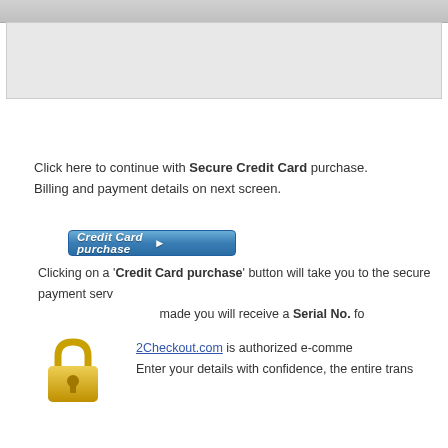[Figure (other): Gray header bar and gray content block at top of page]
[Figure (other): Blue 'Credit Card purchase' button with arrow]
Click here to continue with Secure Credit Card purchase.
Billing and payment details on next screen.
Clicking on a 'Credit Card purchase' button will take you to the secure payment serv... made you will receive a Serial No. fo...
[Figure (illustration): Gold padlock icon]
2Checkout.com is authorized e-comme... Enter your details with confidence, the entire trans...